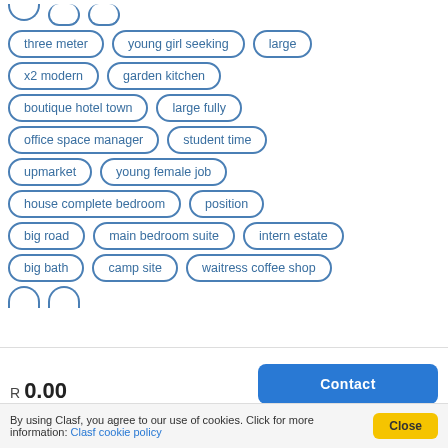three meter
young girl seeking
large
x2 modern
garden kitchen
boutique hotel town
large fully
office space manager
student time
upmarket
young female job
house complete bedroom
position
big road
main bedroom suite
intern estate
big bath
camp site
waitress coffee shop
R 0.00
Contact
By using Clasf, you agree to our use of cookies. Click for more information: Clasf cookie policy
Close